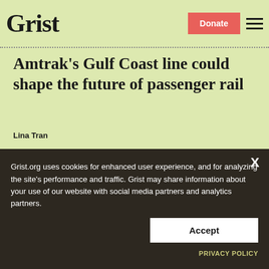Grist | Donate | Menu
Amtrak's Gulf Coast line could shape the future of passenger rail
Lina Tran
The only newsroom focused on exploring
Grist.org uses cookies for enhanced user experience, and for analyzing the site's performance and traffic. Grist may share information about your use of our website with social media partners and analytics partners.
Accept
PRIVACY POLICY